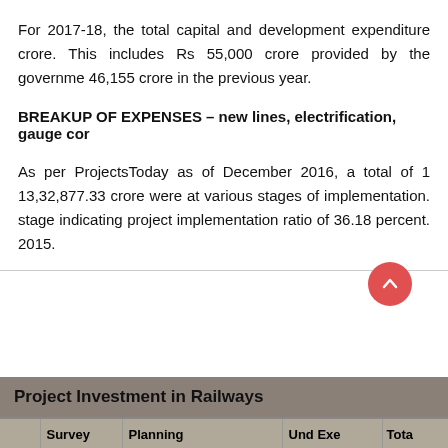For 2017-18, the total capital and development expenditure crore. This includes Rs 55,000 crore provided by the government 46,155 crore in the previous year.
BREAKUP OF EXPENSES – new lines, electrification, gauge con
As per ProjectsToday as of December 2016, a total of 1 13,32,877.33 crore were at various stages of implementation. stage indicating project implementation ratio of 36.18 percent. 2015.
|  | Survey | Planning | Und Exe | Total |
| --- | --- | --- | --- | --- |